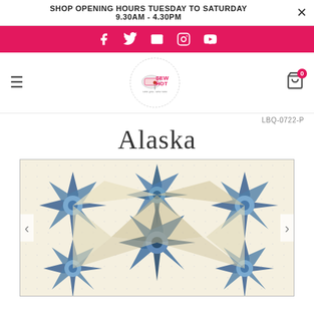SHOP OPENING HOURS TUESDAY TO SATURDAY
9.30AM - 4.30PM
[Figure (logo): Pink social media bar with icons: Facebook, Twitter, Email, Instagram, YouTube]
[Figure (logo): Sew Hot logo - sewing machine in dotted circle with text 'SEW HOT sew you, sew now']
LBQ-0722-P
Alaska
[Figure (photo): Alaska quilt pattern showing blue and cream star quilt design with geometric star blocks arranged in a symmetrical pattern]